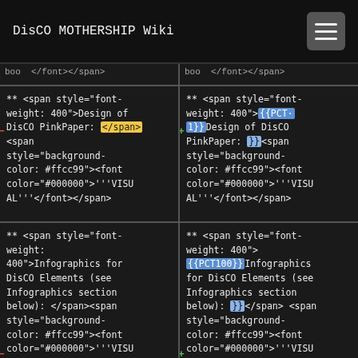DisCO MOTHERSHIP Wiki
** <span style="font-weight: 400">Design of DisCO PinkPaper: </span><span> style="background-color: #ffcc99"><font color="#000000">'''VISUAL'''</font></span>
** <span style="font-weight: 400">{{PCT1}}Design of DisCO PinkPaper: }}<span style="background-color: #ffcc99"><font color="#000000">'''VISUAL'''</font></span>
** <span style="font-weight: 400">Infographics for DisCO Elements (see Infographics section below): </span><span style="background-color: #ffcc99"><font color="#000000">'''VISUAL'''</font></span>
** <span style="font-weight: 400">{{PCT100}}Infographics for DisCO Elements (see Infographics section below): }}</span> <span style="background-color: #ffcc99"><font color="#000000">'''VISUAL'''</font></span>